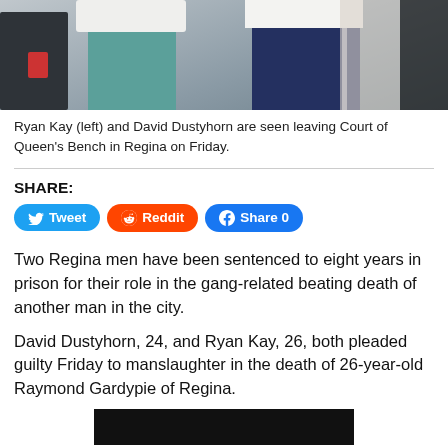[Figure (photo): Ryan Kay (left) and David Dustyhorn leaving Court of Queen's Bench in Regina, showing lower bodies with teal and navy tracksuit pants]
Ryan Kay (left) and David Dustyhorn are seen leaving Court of Queen's Bench in Regina on Friday.
SHARE:
Two Regina men have been sentenced to eight years in prison for their role in the gang-related beating death of another man in the city.
David Dustyhorn, 24, and Ryan Kay, 26, both pleaded guilty Friday to manslaughter in the death of 26-year-old Raymond Gardypie of Regina.
[Figure (photo): Bottom partial photo, dark background, cut off at bottom of page]